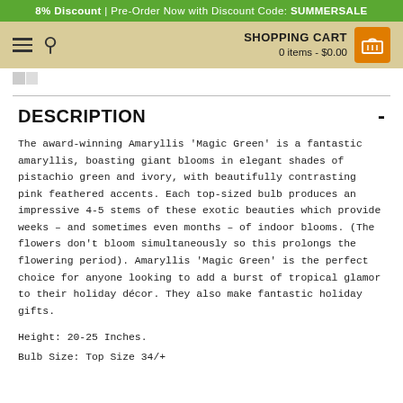8% Discount | Pre-Order Now with Discount Code: SUMMERSALE
SHOPPING CART 0 items - $0.00
DESCRIPTION
The award-winning Amaryllis 'Magic Green' is a fantastic amaryllis, boasting giant blooms in elegant shades of pistachio green and ivory, with beautifully contrasting pink feathered accents. Each top-sized bulb produces an impressive 4-5 stems of these exotic beauties which provide weeks – and sometimes even months – of indoor blooms. (The flowers don't bloom simultaneously so this prolongs the flowering period). Amaryllis 'Magic Green' is the perfect choice for anyone looking to add a burst of tropical glamor to their holiday décor. They also make fantastic holiday gifts.
Height: 20-25 Inches.
Bulb Size: Top Size 34/+